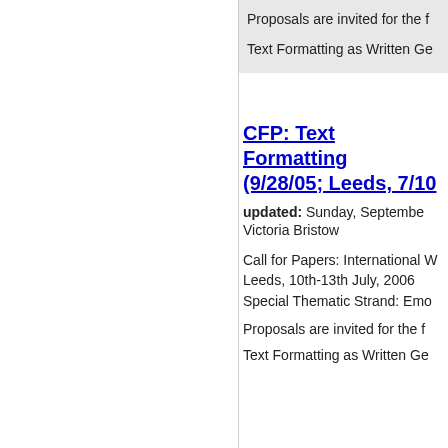Proposals are invited for the f
Text Formatting as Written Ge
CFP: Text Formatting (9/28/05; Leeds, 7/10
updated: Sunday, September
Victoria Bristow
Call for Papers: International 
Leeds, 10th-13th July, 2006
Special Thematic Strand: Emo
Proposals are invited for the f
Text Formatting as Written Ge